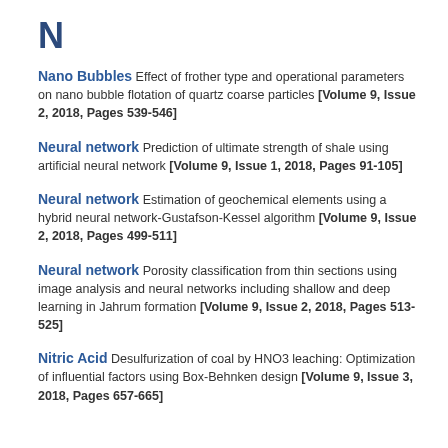N
Nano Bubbles Effect of frother type and operational parameters on nano bubble flotation of quartz coarse particles [Volume 9, Issue 2, 2018, Pages 539-546]
Neural network Prediction of ultimate strength of shale using artificial neural network [Volume 9, Issue 1, 2018, Pages 91-105]
Neural network Estimation of geochemical elements using a hybrid neural network-Gustafson-Kessel algorithm [Volume 9, Issue 2, 2018, Pages 499-511]
Neural network Porosity classification from thin sections using image analysis and neural networks including shallow and deep learning in Jahrum formation [Volume 9, Issue 2, 2018, Pages 513-525]
Nitric Acid Desulfurization of coal by HNO3 leaching: Optimization of influential factors using Box-Behnken design [Volume 9, Issue 3, 2018, Pages 657-665]